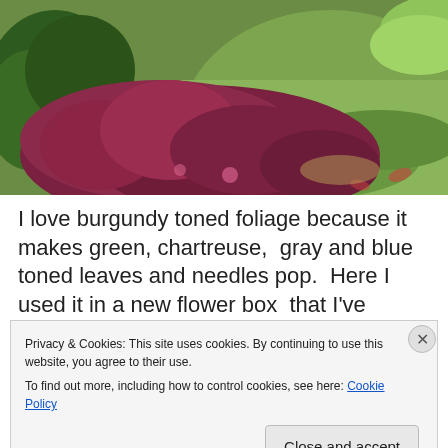[Figure (photo): Garden border with burgundy-leafed plants (likely coleus or heuchera) alongside green shrubs and lawn grass]
I love burgundy toned foliage because it makes green, chartreuse,  gray and blue toned leaves and needles pop.  Here I used it in a new flower box  that I've painted
Privacy & Cookies: This site uses cookies. By continuing to use this website, you agree to their use.
To find out more, including how to control cookies, see here: Cookie Policy
Close and accept